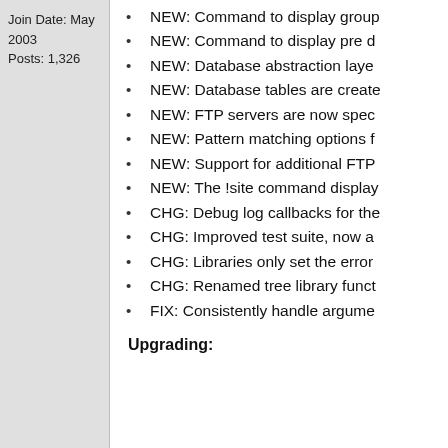Join Date: May 2003
Posts: 1,326
NEW: Command to display group
NEW: Command to display pre d
NEW: Database abstraction laye
NEW: Database tables are create
NEW: FTP servers are now spec
NEW: Pattern matching options f
NEW: Support for additional FTP
NEW: The !site command display
CHG: Debug log callbacks for the
CHG: Improved test suite, now a
CHG: Libraries only set the error
CHG: Renamed tree library funct
FIX: Consistently handle argume
Upgrading: